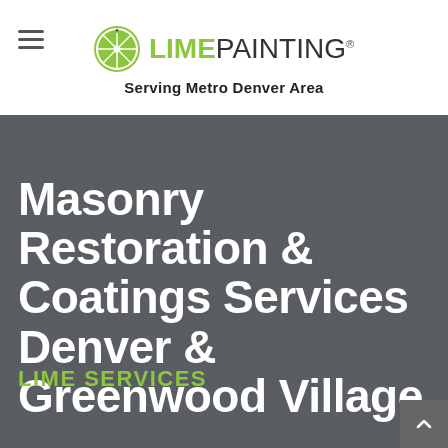LIME PAINTING — Serving Metro Denver Area
Masonry Restoration & Coatings Services Denver & Greenwood Village
LIME SERVICES